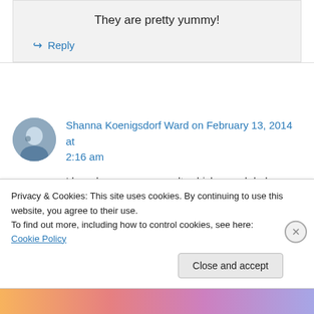They are pretty yummy!
↳ Reply
Shanna Koenigsdorf Ward on February 13, 2014 at 2:16 am
I heard someone say salt, whiskey and dark
Privacy & Cookies: This site uses cookies. By continuing to use this website, you agree to their use. To find out more, including how to control cookies, see here: Cookie Policy
Close and accept